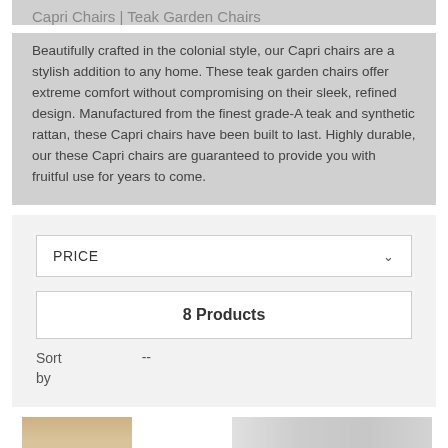Capri Chairs | Teak Garden Chairs
Beautifully crafted in the colonial style, our Capri chairs are a stylish addition to any home. These teak garden chairs offer extreme comfort without compromising on their sleek, refined design. Manufactured from the finest grade-A teak and synthetic rattan, these Capri chairs have been built to last. Highly durable, our these Capri chairs are guaranteed to provide you with fruitful use for years to come.
PRICE
8 Products
Sort by  --